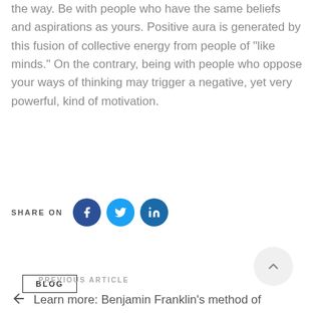the way. Be with people who have the same beliefs and aspirations as yours. Positive aura is generated by this fusion of collective energy from people of “like minds.” On the contrary, being with people who oppose your ways of thinking may trigger a negative, yet very powerful, kind of motivation.
BLOG
SHARE ON
[Figure (other): Social media share buttons: Facebook (dark blue circle with f), Twitter (light blue circle with bird icon), LinkedIn (blue circle with in)]
[Figure (other): Scroll to top button: light gray circle with upward chevron arrow]
PREVIOUS ARTICLE
Learn more: Benjamin Franklin’s method of